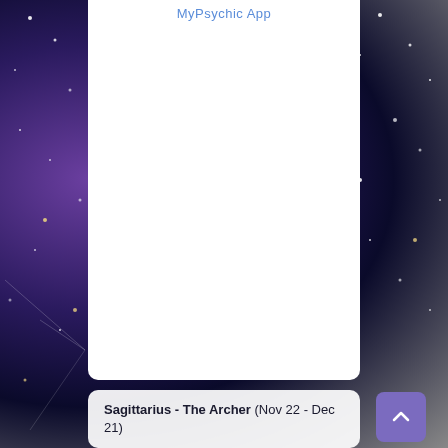[Figure (screenshot): App screenshot background with purple/dark blue starry night sky on left and dark blue starry sky on right sides, with a white central panel]
MyPsychic App
Sagittarius - The Archer (Nov 22 - Dec 21)